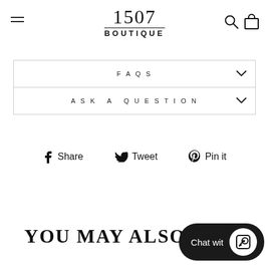1507 BOUTIQUE
FAQS
ASK A QUESTION
Share  Tweet  Pin it
YOU MAY ALSO LIKE
Chat wit